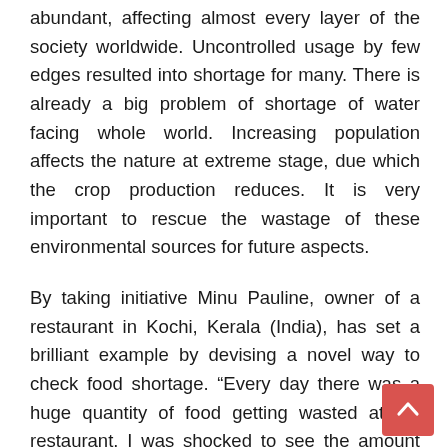abundant, affecting almost every layer of the society worldwide. Uncontrolled usage by few edges resulted into shortage for many. There is already a big problem of shortage of water facing whole world. Increasing population affects the nature at extreme stage, due which the crop production reduces. It is very important to rescue the wastage of these environmental sources for future aspects.
By taking initiative Minu Pauline, owner of a restaurant in Kochi, Kerala (India), has set a brilliant example by devising a novel way to check food shortage. “Every day there was a huge quantity of food getting wasted at my restaurant. I was shocked to see the amount that went into trash cans. One day as I was